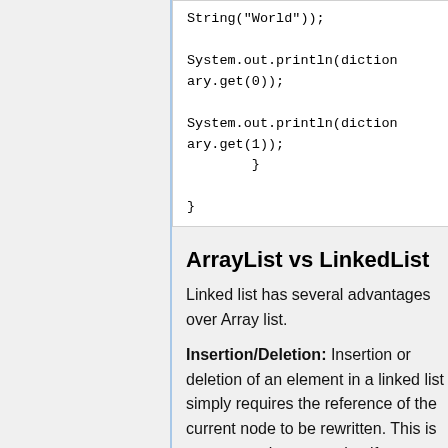String("World"));

System.out.println(dictionary.get(0));

System.out.println(dictionary.get(1));
        }

}
ArrayList vs LinkedList
Linked list has several advantages over Array list.
Insertion/Deletion: Insertion or deletion of an element in a linked list simply requires the reference of the current node to be rewritten. This is a constant time operation if you are already at the current node. Otherwise to start from the